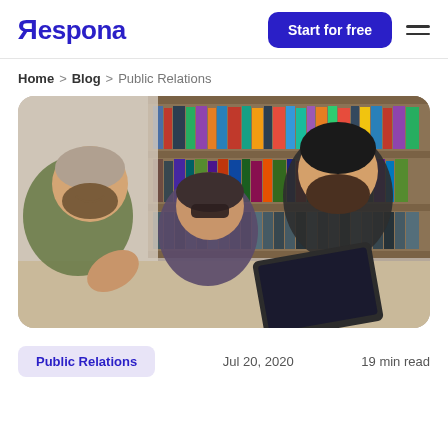Respona | Start for free
Home > Blog > Public Relations
[Figure (photo): Three men laughing and looking at a laptop together in a library setting with bookshelves in the background]
Public Relations   Jul 20, 2020   19 min read